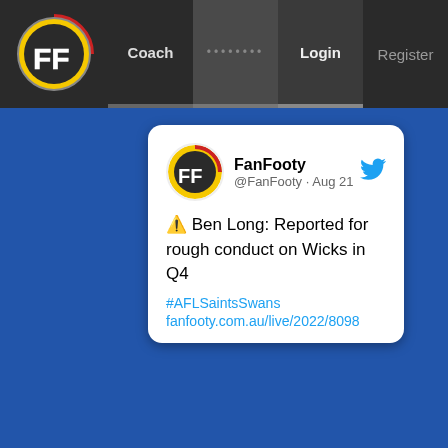FanFooty | Coach | ........ | Login | Register
[Figure (screenshot): FanFooty tweet card showing @FanFooty Aug 21 post: ⚠️ Ben Long: Reported for rough conduct on Wicks in Q4. #AFLSaintsSwans fanfooty.com.au/live/2022/8098]
⚠️ Ben Long: Reported for rough conduct on Wicks in Q4
#AFLSaintsSwans
fanfooty.com.au/live/2022/8098